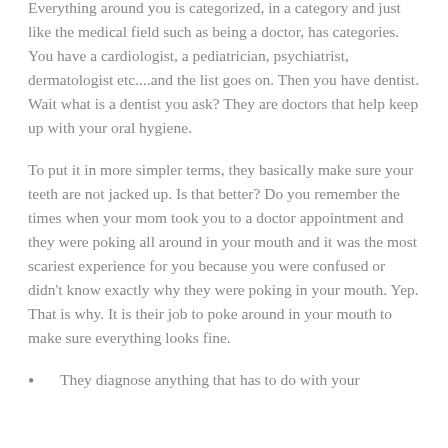Everything around you is categorized, in a category and just like the medical field such as being a doctor, has categories. You have a cardiologist, a pediatrician, psychiatrist, dermatologist etc....and the list goes on. Then you have dentist. Wait what is a dentist you ask? They are doctors that help keep up with your oral hygiene.
To put it in more simpler terms, they basically make sure your teeth are not jacked up. Is that better? Do you remember the times when your mom took you to a doctor appointment and they were poking all around in your mouth and it was the most scariest experience for you because you were confused or didn't know exactly why they were poking in your mouth. Yep. That is why. It is their job to poke around in your mouth to make sure everything looks fine.
They diagnose anything that has to do with your